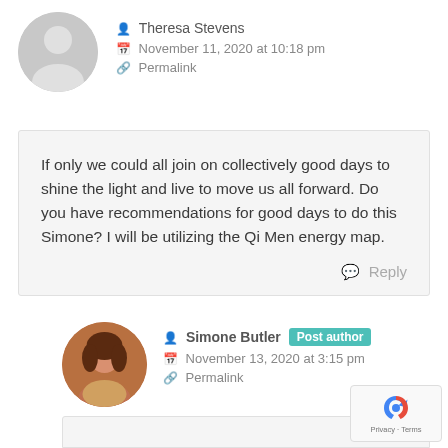Theresa Stevens
November 11, 2020 at 10:18 pm
Permalink
If only we could all join on collectively good days to shine the light and live to move us all forward. Do you have recommendations for good days to do this Simone? I will be utilizing the Qi Men energy map.
Reply
Simone Butler
Post author
November 13, 2020 at 3:15 pm
Permalink